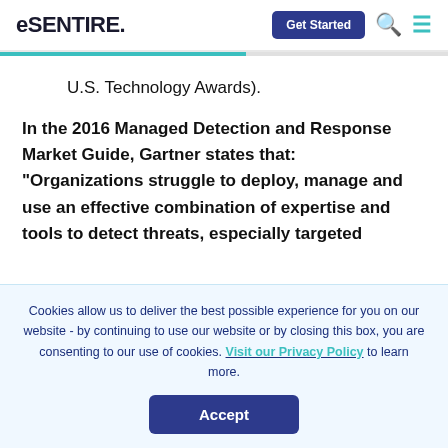eSentire — Get Started
U.S. Technology Awards).
In the 2016 Managed Detection and Response Market Guide, Gartner states that: “Organizations struggle to deploy, manage and use an effective combination of expertise and tools to detect threats, especially targeted
Cookies allow us to deliver the best possible experience for you on our website - by continuing to use our website or by closing this box, you are consenting to our use of cookies. Visit our Privacy Policy to learn more.
Accept